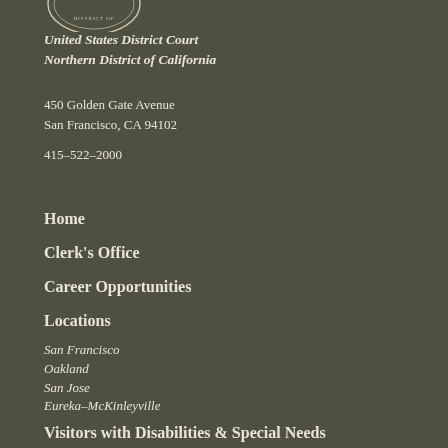[Figure (logo): United States District Court Northern District of California seal/logo, partially visible at top]
United States District Court
Northern District of California
450 Golden Gate Avenue
San Francisco, CA 94102
415–522–2000
Home
Clerk's Office
Career Opportunities
Locations
San Francisco
Oakland
San Jose
Eureka–McKinleyville
Visitors with Disabilities & Special Needs